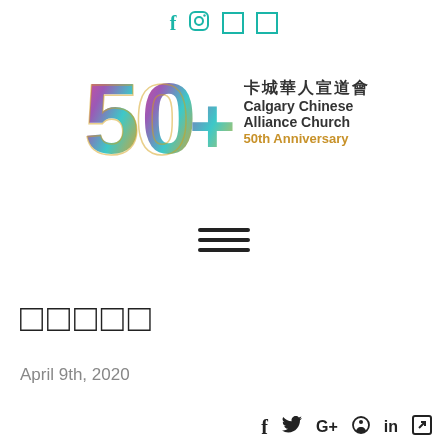f  Instagram  □  □
[Figure (logo): Calgary Chinese Alliance Church 50th Anniversary logo featuring a colorful gradient '50+' numeral with Chinese text '卡城華人宣道會' and English text 'Calgary Chinese Alliance Church 50th Anniversary']
[Figure (other): Hamburger menu icon with three horizontal lines]
□□□□□
April 9th, 2020
f  Twitter  G+  Pinterest  in  Share